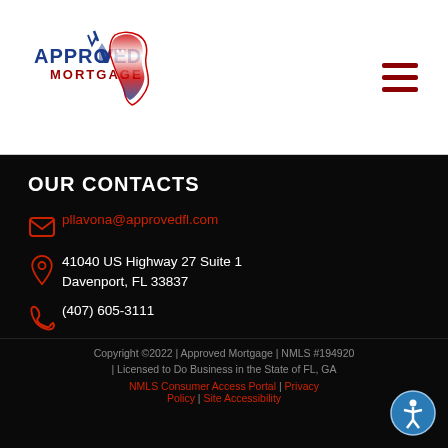[Figure (logo): Approved Mortgage logo with American flag and Florida state outline]
[Figure (other): Hamburger menu icon (three dark red horizontal lines)]
OUR CONTACTS
pllavona@approvedfl.com
41040 US Highway 27 Suite 1
Davenport, FL 33837
(407) 605-3111
Copyright ©2022 | Approved Mortgage | NMLS #194920 | Licensed to Do Business in the State of FL, GA
NMLS Consumer Access Portal | Privacy Policy | Site Accessibility